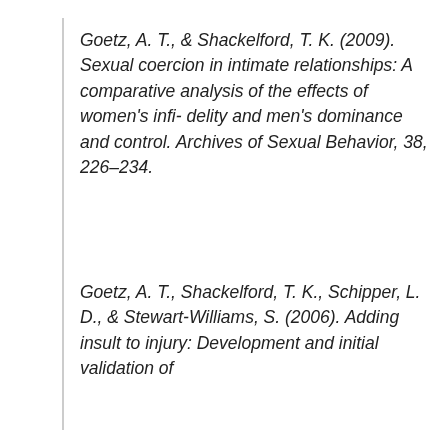Goetz, A. T., & Shackelford, T. K. (2009). Sexual coercion in intimate relationships: A comparative analysis of the effects of women's infi- delity and men's dominance and control. Archives of Sexual Behavior, 38, 226–234.
Goetz, A. T., Shackelford, T. K., Schipper, L. D., & Stewart-Williams, S. (2006). Adding insult to injury: Development and initial validation of the Partner Direct Aggression Scale.